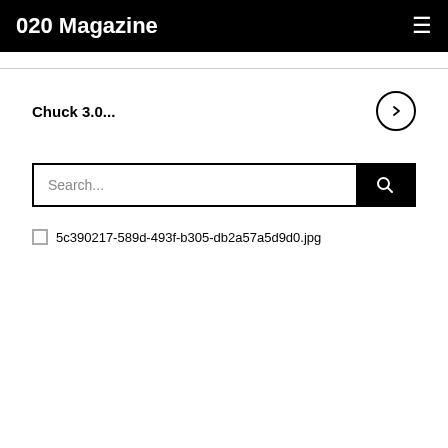020 Magazine
Chuck 3.0...
Search...
5c390217-589d-493f-b305-db2a57a5d9d0.jpg